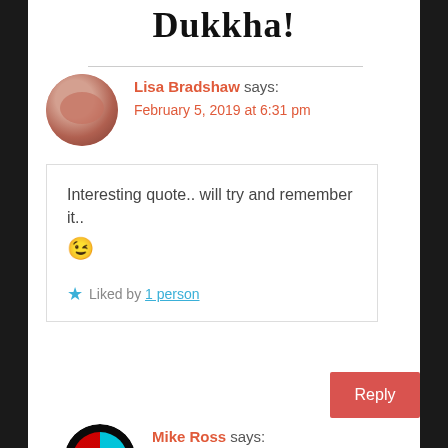Dukkha!
Lisa Bradshaw says:
February 5, 2019 at 6:31 pm
Interesting quote.. will try and remember it.. 😉
Liked by 1 person
Reply
Mike Ross says:
February 5, 2019 at 7:48 pm